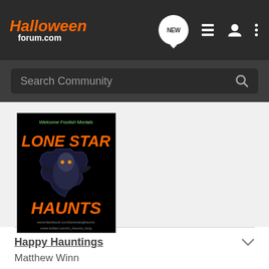HalloweenForum.com — navigation bar with NEW, list, user, and menu icons
Search Community
[Figure (illustration): Lone Star Haunts promotional image on black background with orange text reading 'Welcome Foolish Mortals', 'LONE STAR HAUNTS', spooky Texas shape silhouette, and website URLs at bottom]
Happy Hauntings
Matthew Winn
Reply   Quote